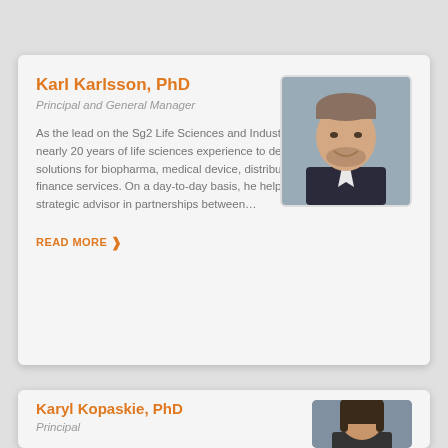Karl Karlsson, PhD
Principal and General Manager
As the lead on the Sg2 Life Sciences and Industry team, Karl leverages nearly 20 years of life sciences experience to develop strategies and solutions for biopharma, medical device, distributors, health IT and finance services. On a day-to-day basis, he helps position Sg2 as a strategic advisor in partnerships between...
[Figure (photo): Professional headshot of Karl Karlsson, a man with short hair wearing a dark suit, smiling]
READ MORE >
Karyl Kopaskie, PhD
Principal
[Figure (photo): Professional headshot of Karyl Kopaskie, a woman with long brown hair]